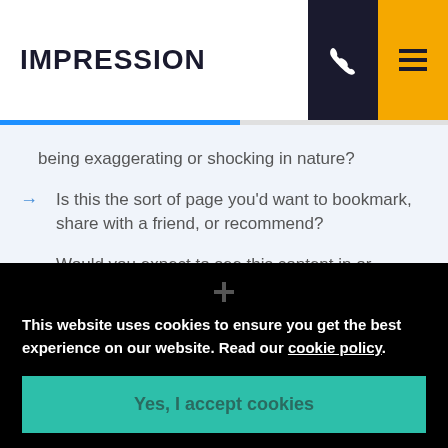IMPRESSION
being exaggerating or shocking in nature?
Is this the sort of page you'd want to bookmark, share with a friend, or recommend?
Would you expect to see this content in or referenced by a printed magazine, encyclopedia or book?
This website uses cookies to ensure you get the best experience on our website. Read our cookie policy.
Yes, I accept cookies